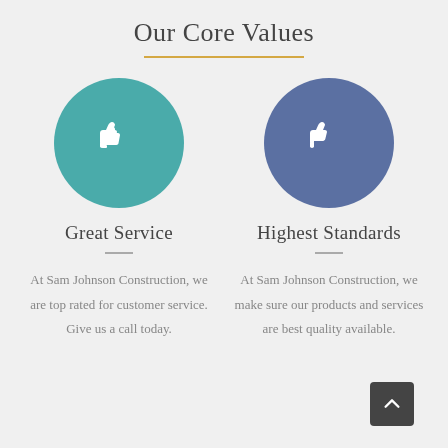Our Core Values
[Figure (illustration): Teal circle with white thumbs-up icon representing Great Service]
Great Service
At Sam Johnson Construction, we are top rated for customer service. Give us a call today.
[Figure (illustration): Blue circle with white thumbs-up icon representing Highest Standards]
Highest Standards
At Sam Johnson Construction, we make sure our products and services are best quality available.